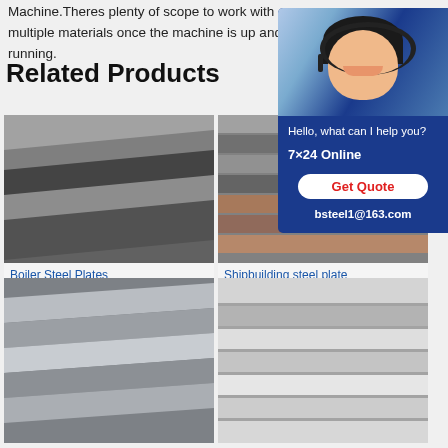Machine.Theres plenty of scope to work with multiple materials once the machine is up and running.
Related Products
[Figure (photo): Customer service representative with headset, chat widget with '7x24 Online', 'Get Quote' button, and email bsteel1@163.com]
[Figure (photo): Boiler Steel Plates - stack of dark metallic steel plates]
Boiler Steel Plates
[Figure (photo): Shipbuilding steel plate - layered steel/material sheets]
Shipbuilding steel plate
[Figure (photo): Bottom left steel plates product photo]
[Figure (photo): Bottom right steel plates product photo]